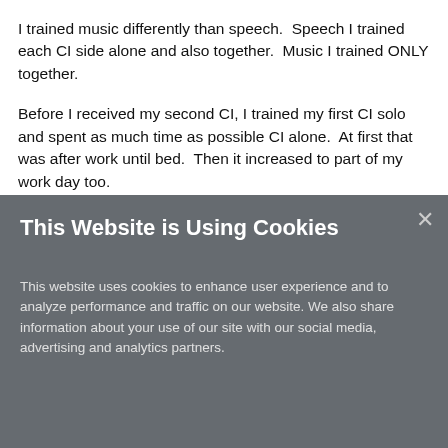I trained music differently than speech.  Speech I trained each CI side alone and also together.  Music I trained ONLY together.
Before I received my second CI, I trained my first CI solo and spent as much time as possible CI alone.  At first that was after work until bed.  Then it increased to part of my work day too.
[Figure (screenshot): Cookie consent overlay dialog with gray background. Title: 'This Website is Using Cookies'. Body text explaining cookie usage and data sharing. A 'Do Not Sell My Personal Information' link. An 'Accept Cookies' teal button. An X close button in the top right.]